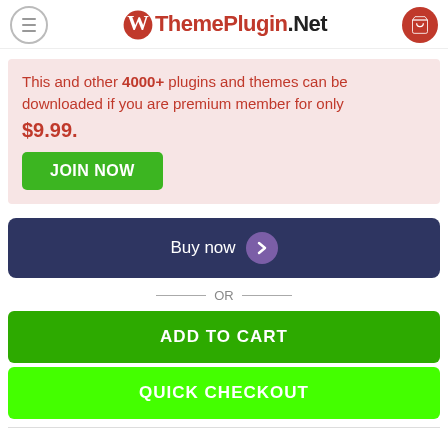ThemePlugin.Net
This and other 4000+ plugins and themes can be downloaded if you are premium member for only $9.99.
JOIN NOW
Buy now
— OR —
ADD TO CART
QUICK CHECKOUT